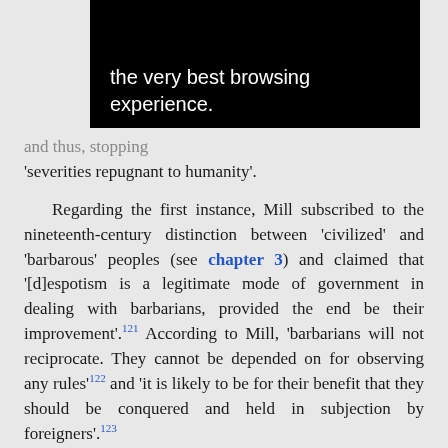[Figure (screenshot): Black browser cookie/privacy banner with white text: 'information that help give you the very best browsing experience.']
... and thus, stopping 'severities repugnant to humanity'.
Regarding the first instance, Mill subscribed to the nineteenth-century distinction between 'civilized' and 'barbarous' peoples (see chapter 3) and claimed that '[d]espotism is a legitimate mode of government in dealing with barbarians, provided the end be their improvement'.121 According to Mill, 'barbarians will not reciprocate. They cannot be depended on for observing any rules'122 and 'it is likely to be for their benefit that they should be conquered and held in subjection by foreigners'.123
Mill, like the great majority of his European contemporaries, was an